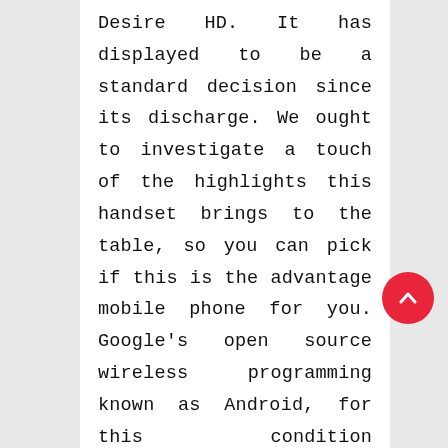Desire HD. It has displayed to be a standard decision since its discharge. We ought to investigate a touch of the highlights this handset brings to the table, so you can pick if this is the advantage mobile phone for you. Google's open source wireless programming known as Android, for this condition adaptation 2.2 Frodo is introduced as standard inside the Realme Desire HD. This is quickly getting piece of the pie, and is correct now the most standard realme programming. It gives an unfathomably